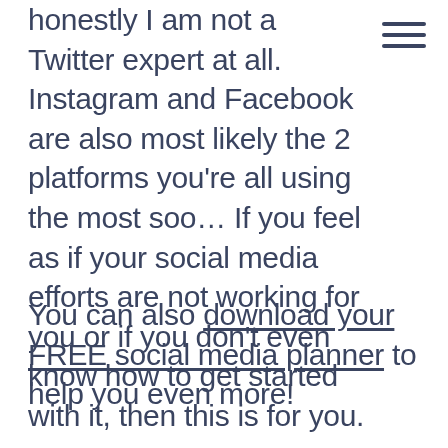honestly I am not a Twitter expert at all. Instagram and Facebook are also most likely the 2 platforms you’re all using the most soo… If you feel as if your social media efforts are not working for you or if you don’t even know how to get started with it, then this is for you.
You can also download your FREE social media planner to help you even more!